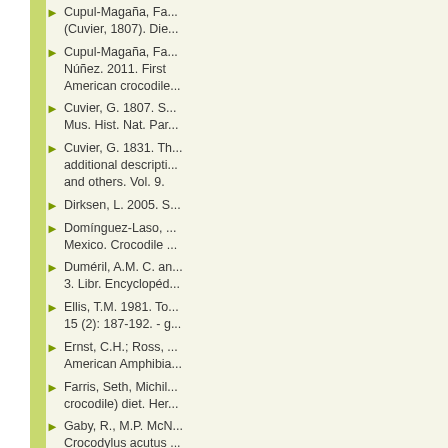Cupul-Magaña, Fa... (Cuvier, 1807). Die...
Cupul-Magaña, Fa... Núñez. 2011. First American crocodile...
Cuvier, G. 1807. S... Mus. Hist. Nat. Par...
Cuvier, G. 1831. Th... additional descripti... and others. Vol. 9.
Dirksen, L. 2005. S...
Domínguez-Laso, ... Mexico. Crocodile ...
Duméril, A.M. C. an... 3. Libr. Encyclopéd...
Ellis, T.M. 1981. To... 15 (2): 187-192. - g...
Ernst, C.H.; Ross, ... American Amphibia...
Farris, Seth, Michil... crocodile) diet. Her...
Gaby, R., M.P. McN... Crocodylus acutus ...
García, A. & Cebal... JALISCO, MEXICO... paper here